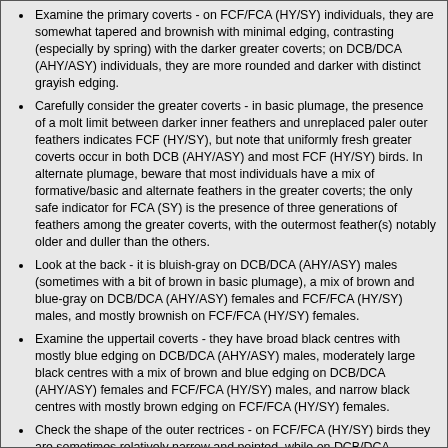Examine the primary coverts - on FCF/FCA (HY/SY) individuals, they are somewhat tapered and brownish with minimal edging, contrasting (especially by spring) with the darker greater coverts; on DCB/DCA (AHY/ASY) individuals, they are more rounded and darker with distinct grayish edging.
Carefully consider the greater coverts - in basic plumage, the presence of a molt limit between darker inner feathers and unreplaced paler outer feathers indicates FCF (HY/SY), but note that uniformly fresh greater coverts occur in both DCB (AHY/ASY) and most FCF (HY/SY) birds. In alternate plumage, beware that most individuals have a mix of formative/basic and alternate feathers in the greater coverts; the only safe indicator for FCA (SY) is the presence of three generations of feathers among the greater coverts, with the outermost feather(s) notably older and duller than the others.
Look at the back - it is bluish-gray on DCB/DCA (AHY/ASY) males (sometimes with a bit of brown in basic plumage), a mix of brown and blue-gray on DCB/DCA (AHY/ASY) females and FCF/FCA (HY/SY) males, and mostly brownish on FCF/FCA (HY/SY) females.
Examine the uppertail coverts - they have broad black centres with mostly blue edging on DCB/DCA (AHY/ASY) males, moderately large black centres with a mix of brown and blue edging on DCB/DCA (AHY/ASY) females and FCF/FCA (HY/SY) males, and narrow black centres with mostly brown edging on FCF/FCA (HY/SY) females.
Check the shape of the outer rectrices - on FCF/FCA (HY/SY) birds they are sometimes relatively narrow and pointed, while on DCB/DCA (AHY/ASY) birds they tend to be broader and more rounded, but distinction is not as distinct.